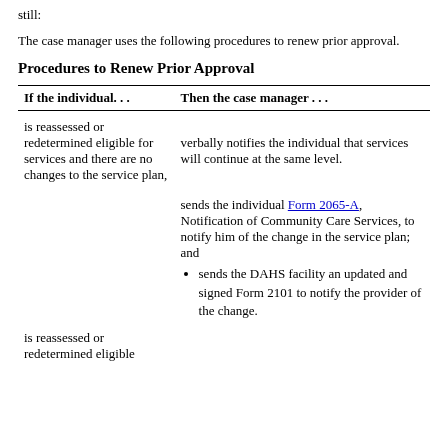still:
The case manager uses the following procedures to renew prior approval.
Procedures to Renew Prior Approval
| If the individual. . . | Then the case manager . . . |
| --- | --- |
| is reassessed or redetermined eligible for services and there are no changes to the service plan, | verbally notifies the individual that services will continue at the same level. |
|  | sends the individual Form 2065-A, Notification of Community Care Services, to notify him of the change in the service plan; and
• sends the DAHS facility an updated and signed Form 2101 to notify the provider of the change. |
| is reassessed or redetermined eligible |  |